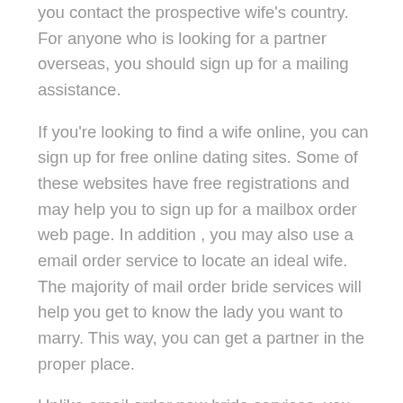you contact the prospective wife's country. For anyone who is looking for a partner overseas, you should sign up for a mailing assistance.
If you're looking to find a wife online, you can sign up for free online dating sites. Some of these websites have free registrations and may help you to sign up for a mailbox order web page. In addition , you may also use a email order service to locate an ideal wife. The majority of mail order bride services will help you get to know the lady you want to marry. This way, you can get a partner in the proper place.
Unlike email order new bride services, you will